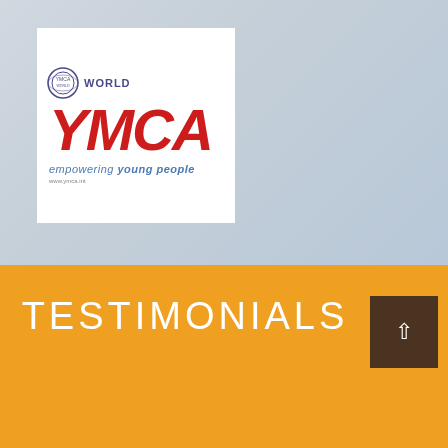[Figure (logo): World YMCA logo — circular emblem with 'WORLD' text above 'YMCA' in large red italic letters, tagline 'empowering young people' in blue italic below]
TESTIMONIALS